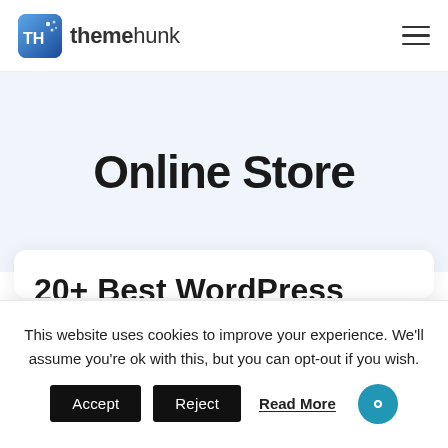[Figure (logo): ThemeHunk logo with TH icon and text 'themehunk']
Online Store
20+ Best WordPress WooCommerce
This website uses cookies to improve your experience. We'll assume you're ok with this, but you can opt-out if you wish.
Accept   Reject   Read More